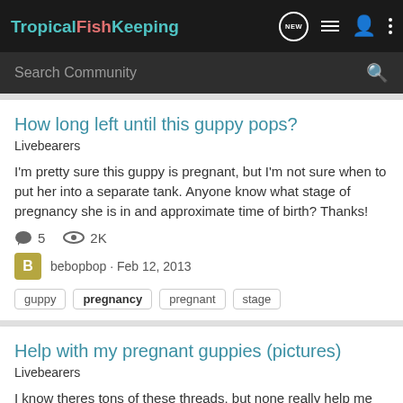TropicalFishKeeping
Search Community
How long left until this guppy pops?
Livebearers
I'm pretty sure this guppy is pregnant, but I'm not sure when to put her into a separate tank. Anyone know what stage of pregnancy she is in and approximate time of birth? Thanks!
5  2K
bebopbop · Feb 12, 2013
guppy
pregnancy
pregnant
stage
Help with my pregnant guppies (pictures)
Livebearers
I know theres tons of these threads, but none really help me